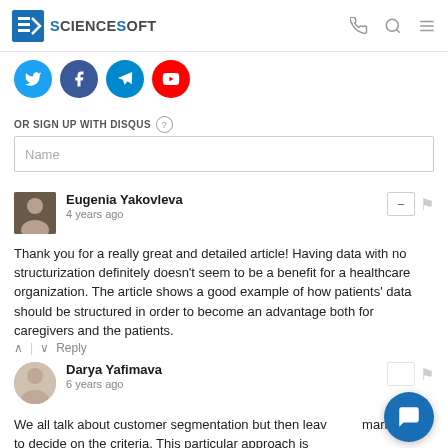ScienceSoft
[Figure (other): Social sharing icons: Twitter, Facebook, Telegram, YouTube/Pinterest (circles in blue/red)]
OR SIGN UP WITH DISQUS ?
Name
Eugenia Yakovleva
4 years ago
Thank you for a really great and detailed article! Having data with no structurization definitely doesn't seem to be a benefit for a healthcare organization. The article shows a good example of how patients' data should be structured in order to become an advantage both for caregivers and the patients.
^ | v Reply
Darya Yafimava
6 years ago
We all talk about customer segmentation but then leave it to marketers to decide on the criteria. This particular approach is well-rounded hiring for sign-up operation. Thanks for taking...